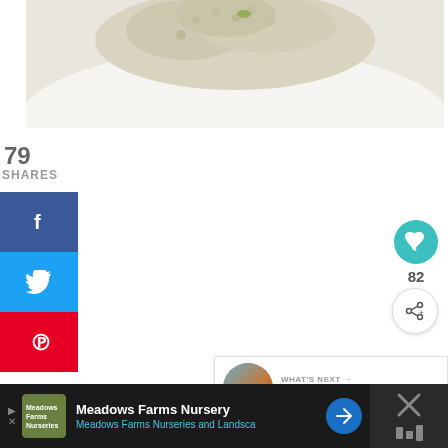[Figure (photo): Food photo showing a white plate with rice or grain dish, viewed from above, partially cropped]
79
SHARES
[Figure (infographic): Facebook share button (blue rectangle with f icon)]
[Figure (infographic): Twitter share button (blue rectangle with bird icon)]
[Figure (infographic): Pinterest share button (red rectangle with P icon)]
[Figure (infographic): Teal circular heart/save button on right side]
82
[Figure (infographic): White circular share button with share icon]
WHAT'S NEXT → 40 Meals in 4 Hours...
Meadows Farms Nursery Meadows Farms Nurseries and Landsca